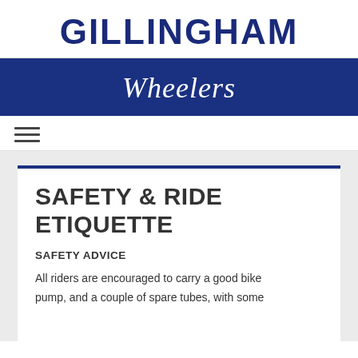GILLINGHAM
Wheelers
SAFETY & RIDE ETIQUETTE
SAFETY ADVICE
All riders are encouraged to carry a good bike pump, and a couple of spare tubes, with some